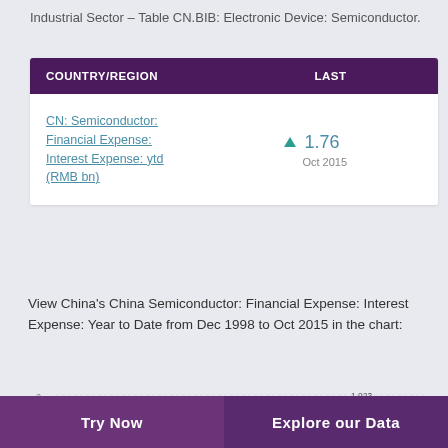Industrial Sector – Table CN.BIB: Electronic Device: Semiconductor.
| COUNTRY/REGION | LAST |
| --- | --- |
| CN: Semiconductor: Financial Expense: Interest Expense: ytd (RMB bn) | ▲ 1.76 Oct 2015 |
View China's China Semiconductor: Financial Expense: Interest Expense: Year to Date from Dec 1998 to Oct 2015 in the chart:
[Figure (area-chart): CN Semiconductor Financial Expense Interest Expense YTD]
Try Now   Explore our Data